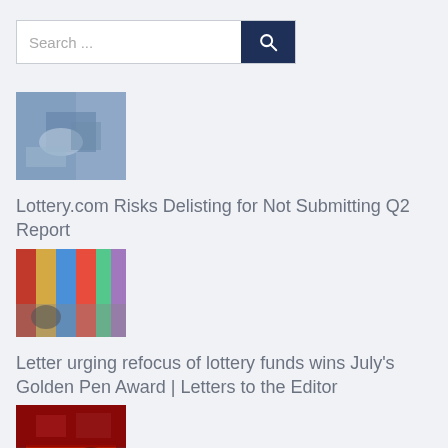[Figure (screenshot): Search bar with text 'Search...' and dark navy blue search button with magnifying glass icon]
[Figure (photo): Thumbnail image showing hands with chains or cuffs]
Lottery.com Risks Delisting for Not Submitting Q2 Report
[Figure (photo): Thumbnail image showing lottery tickets]
Letter urging refocus of lottery funds wins July’s Golden Pen Award | Letters to the Editor
[Figure (photo): Thumbnail image showing people at a table with red tablecloth]